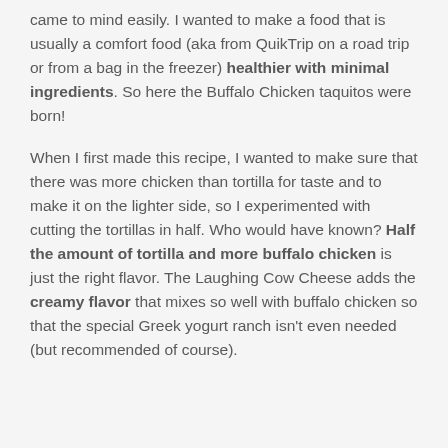came to mind easily. I wanted to make a food that is usually a comfort food (aka from QuikTrip on a road trip or from a bag in the freezer) healthier with minimal ingredients. So here the Buffalo Chicken taquitos were born!
When I first made this recipe, I wanted to make sure that there was more chicken than tortilla for taste and to make it on the lighter side, so I experimented with cutting the tortillas in half. Who would have known? Half the amount of tortilla and more buffalo chicken is just the right flavor. The Laughing Cow Cheese adds the creamy flavor that mixes so well with buffalo chicken so that the special Greek yogurt ranch isn't even needed (but recommended of course).